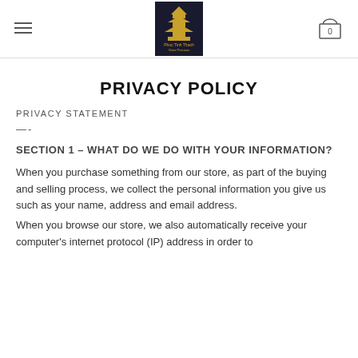Phuc Tinh Thach store header with logo and cart
PRIVACY POLICY
PRIVACY STATEMENT
—-
SECTION 1 – WHAT DO WE DO WITH YOUR INFORMATION?
When you purchase something from our store, as part of the buying and selling process, we collect the personal information you give us such as your name, address and email address.
When you browse our store, we also automatically receive your computer's internet protocol (IP) address in order to